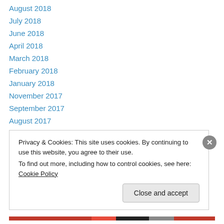August 2018
July 2018
June 2018
April 2018
March 2018
February 2018
January 2018
November 2017
September 2017
August 2017
July 2017
June 2017
May 2017
Privacy & Cookies: This site uses cookies. By continuing to use this website, you agree to their use. To find out more, including how to control cookies, see here: Cookie Policy
Close and accept